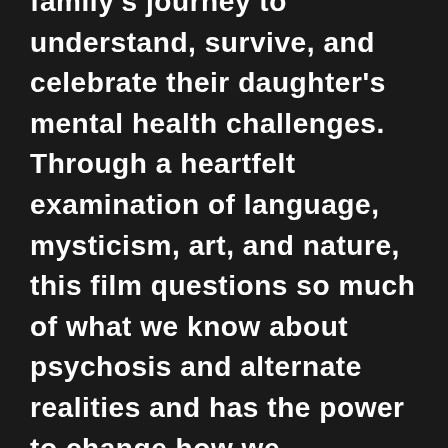family's journey to understand, survive, and celebrate their daughter's mental health challenges. Through a heartfelt examination of language, mysticism, art, and nature, this film questions so much of what we know about psychosis and alternate realities and has the power to change how we understand and approach treatment and healing.